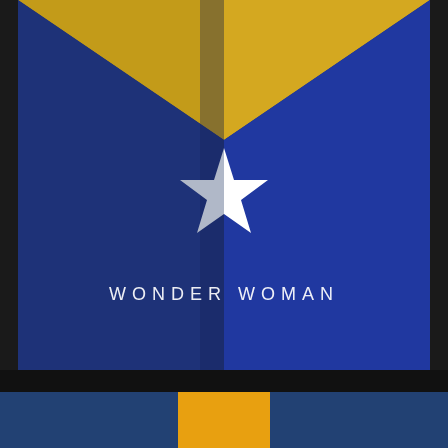[Figure (illustration): Wonder Woman minimalist poster design. Upper portion shows a dark blue background with a gold/yellow chevron (V-shape) pointing downward from the top. A vertical center line divides the image. A five-pointed star is centered on the blue field, with the left half in silver/gray and the right half in white, creating a split-light effect. Below the star, the text 'WONDER WOMAN' is displayed in spaced white caps. The lower portion shows a black separator band followed by a partial view of another image with blue and gold/orange elements.]